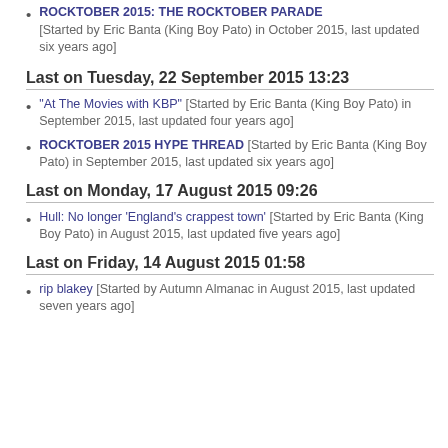ROCKTOBER 2015: THE ROCKTOBER PARADE [Started by Eric Banta (King Boy Pato) in October 2015, last updated six years ago]
Last on Tuesday, 22 September 2015 13:23
"At The Movies with KBP" [Started by Eric Banta (King Boy Pato) in September 2015, last updated four years ago]
ROCKTOBER 2015 HYPE THREAD [Started by Eric Banta (King Boy Pato) in September 2015, last updated six years ago]
Last on Monday, 17 August 2015 09:26
Hull: No longer 'England's crappest town' [Started by Eric Banta (King Boy Pato) in August 2015, last updated five years ago]
Last on Friday, 14 August 2015 01:58
rip blakey [Started by Autumn Almanac in August 2015, last updated seven years ago]